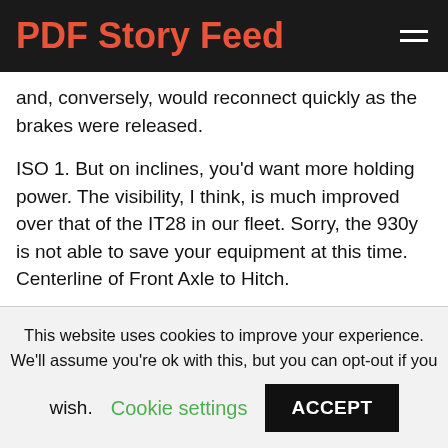PDF Story Feed
and, conversely, would reconnect quickly as the brakes were released.
ISO 1. But on inclines, you'd want more holding power. The visibility, I think, is much improved over that of the IT28 in our fleet. Sorry, the 930y is not able to save your equipment at this time. Centerline of Front Axle to Hitch.
Most Related
CATERPILLAR 930D PDF
This website uses cookies to improve your experience. We'll assume you're ok with this, but you can opt-out if you wish.
Cookie settings
ACCEPT